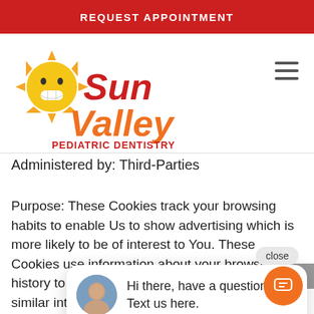REQUEST APPOINTMENT
[Figure (logo): Sun Valley Pediatric Dentistry logo with sun mascot character]
Administered by: Third-Parties
Purpose: These Cookies track your browsing habits to enable Us to show advertising which is more likely to be of interest to You. These Cookies use information about your browsing history to group You with other users who have similar interests. Based on that information, and with Our permission, third party advertisers can
[Figure (screenshot): Chat popup widget showing agent avatar with message: Hi there, have a question? Text us here. Close button visible. Orange chat FAB button in bottom right.]